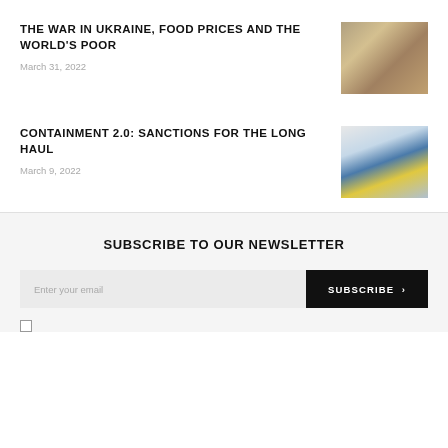THE WAR IN UKRAINE, FOOD PRICES AND THE WORLD'S POOR
March 31, 2022
[Figure (photo): Photograph related to war in Ukraine, food prices article — appears to show crumpled documents or newspaper]
CONTAINMENT 2.0: SANCTIONS FOR THE LONG HAUL
March 9, 2022
[Figure (photo): Photograph related to sanctions article — appears to show a port or industrial scene in winter]
SUBSCRIBE TO OUR NEWSLETTER
Enter your email
SUBSCRIBE >